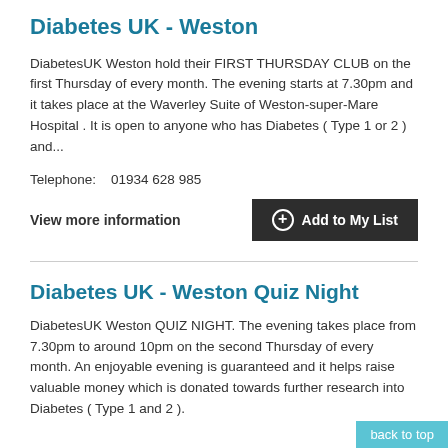Diabetes UK - Weston
DiabetesUK Weston hold their FIRST THURSDAY CLUB on the first Thursday of every month. The evening starts at 7.30pm and it takes place at the Waverley Suite of Weston-super-Mare Hospital . It is open to anyone who has Diabetes ( Type 1 or 2 ) and...
Telephone:    01934 628 985
View more information
Add to My List
Diabetes UK - Weston Quiz Night
DiabetesUK Weston QUIZ NIGHT. The evening takes place from 7.30pm to around 10pm on the second Thursday of every month. An enjoyable evening is guaranteed and it helps raise valuable money which is donated towards further research into Diabetes ( Type 1 and 2 ).